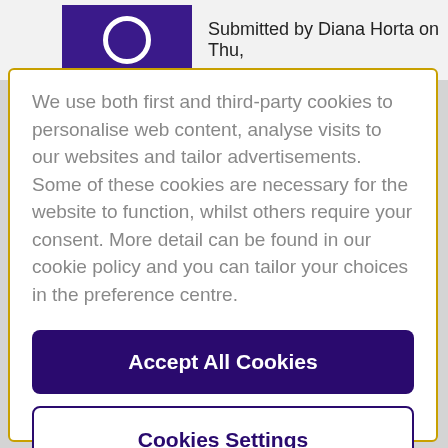Submitted by Diana Horta on Thu,
We use both first and third-party cookies to personalise web content, analyse visits to our websites and tailor advertisements. Some of these cookies are necessary for the website to function, whilst others require your consent. More detail can be found in our cookie policy and you can tailor your choices in the preference centre.
Accept All Cookies
Cookies Settings